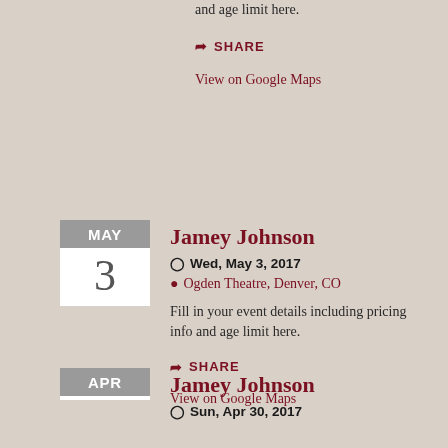and age limit here.
SHARE
View on Google Maps
Jamey Johnson
Wed, May 3, 2017
Ogden Theatre, Denver, CO
Fill in your event details including pricing info and age limit here.
SHARE
View on Google Maps
Jamey Johnson
Sun, Apr 30, 2017